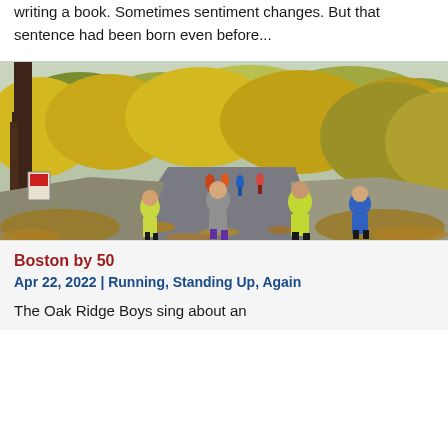writing a book. Sometimes sentiment changes. But that sentence had been born even before...
[Figure (photo): Runners on a park path lined with autumn trees with yellow and orange foliage, likely a marathon race in a park such as Central Park.]
Boston by 50
Apr 22, 2022 | Running, Standing Up, Again
The Oak Ridge Boys sing about an